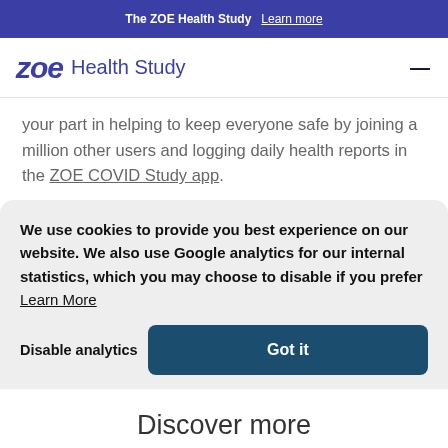The ZOE Health Study  Learn more
zoe  Health Study
your part in helping to keep everyone safe by joining a million other users and logging daily health reports in the ZOE COVID Study app.
Stay safe and keep logging.
We use cookies to provide you best experience on our website. We also use Google analytics for our internal statistics, which you may choose to disable if you prefer  Learn More
Disable analytics
Got it
Discover more